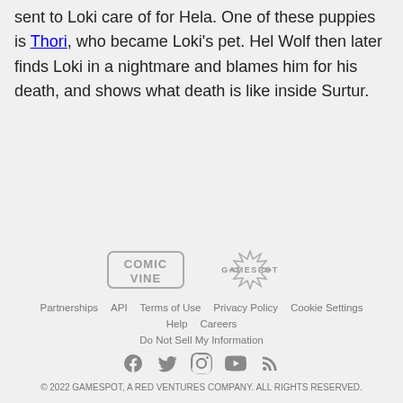sent to Loki care of for Hela. One of these puppies is Thori, who became Loki's pet. Hel Wolf then later finds Loki in a nightmare and blames him for his death, and shows what death is like inside Surtur.
[Figure (logo): Comic Vine logo (gray)]
[Figure (logo): GameSpot logo (gray)]
Partnerships  API  Terms of Use  Privacy Policy  Cookie Settings  Help  Careers  Do Not Sell My Information  © 2022 GAMESPOT, A RED VENTURES COMPANY. ALL RIGHTS RESERVED.